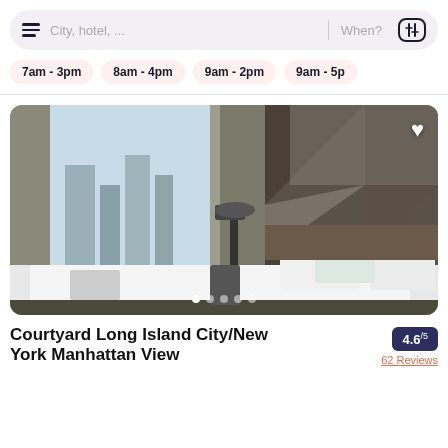[Figure (screenshot): Search bar with hamburger menu, 'City, hotel, ...' placeholder, 'When?' label, and filter icon]
7am - 3pm
8am - 4pm
9am - 2pm
9am - 5p
[Figure (photo): Hotel room photo showing a bed with white linens and geometric patterned wall, large window with city view, curtains]
Courtyard Long Island City/New York Manhattan View
4.6/5
62 Reviews